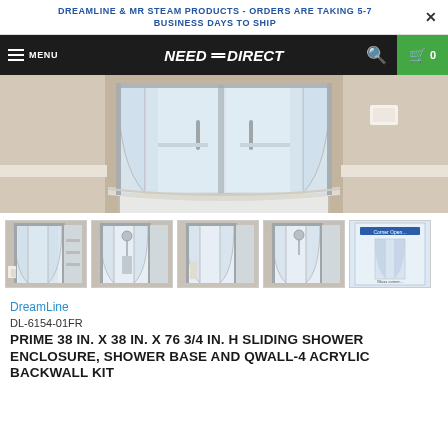DREAMLINE & MR STEAM PRODUCTS - ORDERS ARE TAKING 5-7 BUSINESS DAYS TO SHIP
NEED DIRECT — MENU — Search — Cart 0
[Figure (photo): Main product photo showing a curved corner shower enclosure with chrome framing, white base, and clear glass sliding doors in a bathroom setting with beige tile.]
[Figure (photo): Thumbnail 1: Full shower kit with white interior panels and chrome fixtures]
[Figure (photo): Thumbnail 2: Shower enclosure with hand shower and shelving]
[Figure (photo): Thumbnail 3: Shower enclosure alternate angle]
[Figure (photo): Thumbnail 4: Shower enclosure with accessories]
[Figure (photo): Thumbnail 5: Product packaging box]
DreamLine
DL-6154-01FR
PRIME 38 IN. X 38 IN. X 76 3/4 IN. H SLIDING SHOWER ENCLOSURE, SHOWER BASE AND QWALL-4 ACRYLIC BACKWALL KIT